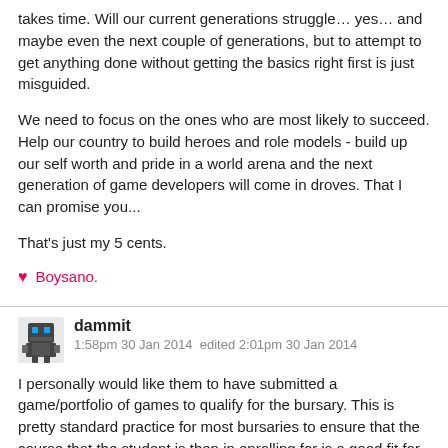takes time. Will our current generations struggle… yes… and maybe even the next couple of generations, but to attempt to get anything done without getting the basics right first is just misguided.
We need to focus on the ones who are most likely to succeed. Help our country to build heroes and role models - build up our self worth and pride in a world arena and the next generation of game developers will come in droves. That I can promise you...
That's just my 5 cents.
♥ Boysano.
dammit
1:58pm 30 Jan 2014  edited 2:01pm 30 Jan 2014
I personally would like them to have submitted a game/portfolio of games to qualify for the bursary. This is pretty standard practice for most bursaries to ensure that the course that the student is then in enrolling for is a good fit for them :)
I might be enthusiastic and keen to make art, but I'm not nearly ready for first year at a varsity, even if someone else is paying for